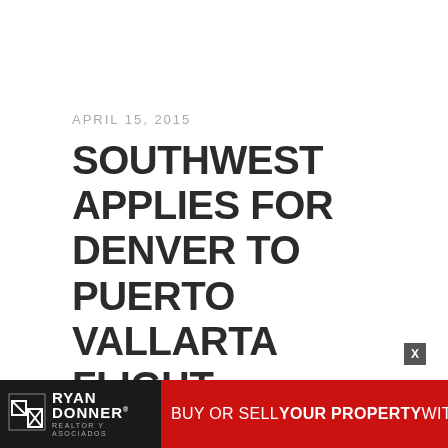APRIL 15, 2015
SOUTHWEST APPLIES FOR DENVER TO PUERTO VALLARTA FLIGHT
[Figure (logo): Ryan Donner Realtor y Asociados advertisement banner: dark logo block on left with stylized RD icon, red block on right reading BUY OR SELL YOUR PROPERTY WITH US]
X